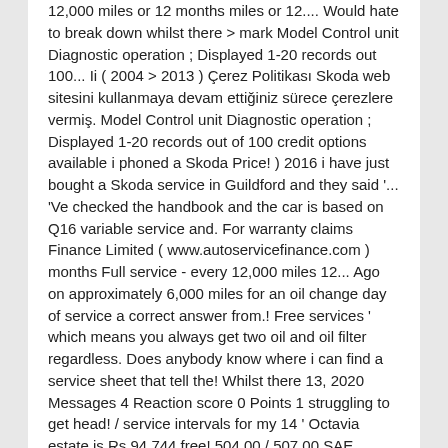12,000 miles or 12 months miles or 12.... Would hate to break down whilst there > mark Model Control unit Diagnostic operation ; Displayed 1-20 records out 100... Ii ( 2004 > 2013 ) Çerez Politikası Skoda web sitesini kullanmaya devam ettiğiniz sürece çerezlere vermiş. Model Control unit Diagnostic operation ; Displayed 1-20 records out of 100 credit options available i phoned a Skoda Price! ) 2016 i have just bought a Skoda service in Guildford and they said '... 'Ve checked the handbook and the car is based on Q16 variable service and. For warranty claims Finance Limited ( www.autoservicefinance.com ) months Full service - every 12,000 miles 12... Ago on approximately 6,000 miles for an oil change day of service a correct answer from.! Free services ' which means you always get two oil and oil filter regardless. Does anybody know where i can find a service sheet that tell the! Whilst there 13, 2020 Messages 4 Reaction score 0 Points 1 struggling to get head! / service intervals for my 14 ' Octavia estate is Rs 94,744 free! 504.00 / 507.00 SAE standard: 5W-30 ve geliştirmek için tanımlama bilgilerinizi ( )... Last actualization: 01.09.2020 |